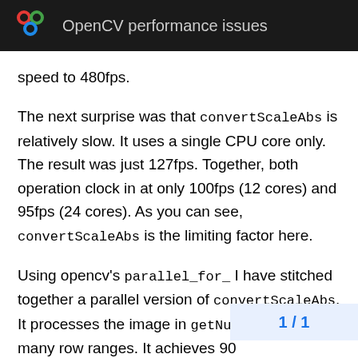OpenCV performance issues
speed to 480fps.
The next surprise was that convertScaleAbs is relatively slow. It uses a single CPU core only. The result was just 127fps. Together, both operation clock in at only 100fps (12 cores) and 95fps (24 cores). As you can see, convertScaleAbs is the limiting factor here.
Using opencv's parallel_for_ I have stitched together a parallel version of convertScaleAbs. It processes the image in getNumThreads()-many row ranges. It achieves 900...